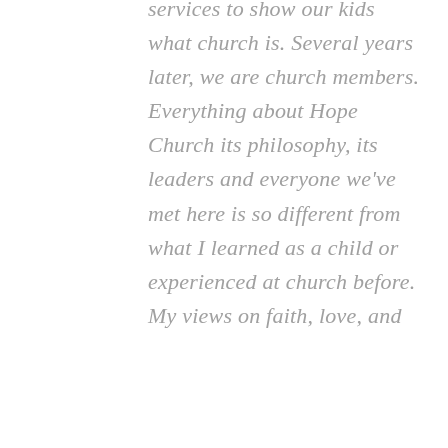services to show our kids what church is. Several years later, we are church members. Everything about Hope Church its philosophy, its leaders and everyone we've met here is so different from what I learned as a child or experienced at church before. My views on faith, love, and